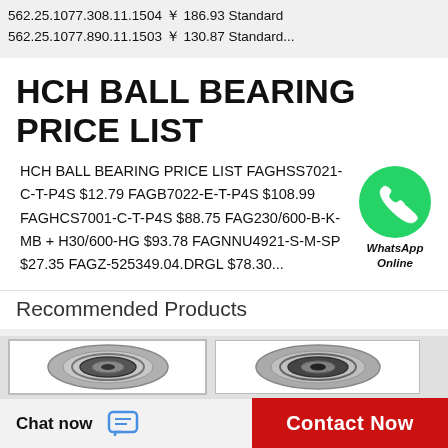562.25.1077.308.11.1504 ￥ 186.93 Standard 562.25.1077.890.11.1503 ￥ 130.87 Standard...
HCH BALL BEARING PRICE LIST
HCH BALL BEARING PRICE LIST FAGHSS7021-C-T-P4S $12.79 FAGB7022-E-T-P4S $108.99 FAGHCS7001-C-T-P4S $88.75 FAG230/600-B-K-MB + H30/600-HG $93.78 FAGNNU4921-S-M-SP $27.35 FAGZ-525349.04.DRGL $78.30...
[Figure (illustration): WhatsApp Online green chat bubble icon with text 'WhatsApp Online']
Recommended Products
[Figure (photo): Ball bearing product photo - left]
[Figure (photo): Ball bearing product photo - right]
Chat now
Contact Now